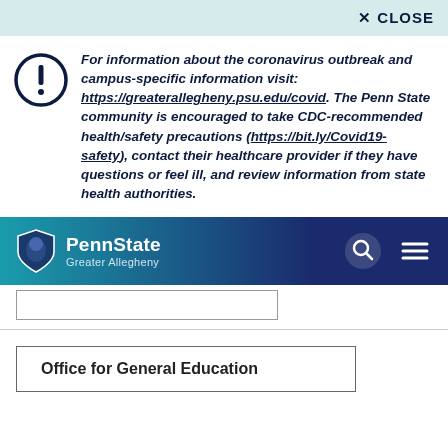✕ CLOSE
For information about the coronavirus outbreak and campus-specific information visit: https://greaterallegheny.psu.edu/covid. The Penn State community is encouraged to take CDC-recommended health/safety precautions (https://bit.ly/Covid19-safety), contact their healthcare provider if they have questions or feel ill, and review information from state health authorities.
[Figure (logo): Penn State Greater Allegheny navigation bar with lion shield logo, PennState Greater Allegheny wordmark, search icon, and hamburger menu icon]
Office for General Education